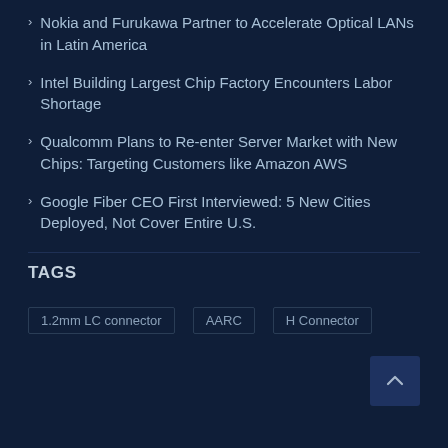Nokia and Furukawa Partner to Accelerate Optical LANs in Latin America
Intel Building Largest Chip Factory Encounters Labor Shortage
Qualcomm Plans to Re-enter Server Market with New Chips: Targeting Customers like Amazon AWS
Google Fiber CEO First Interviewed: 5 New Cities Deployed, Not Cover Entire U.S.
TAGS
1.2mm LC connector
AARC
H Connector